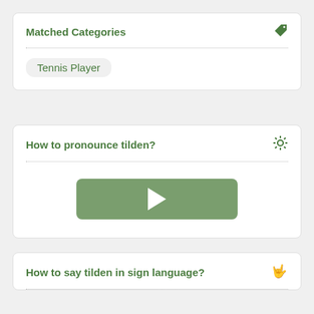Matched Categories
Tennis Player
How to pronounce tilden?
[Figure (other): Green play button for audio pronunciation]
How to say tilden in sign language?